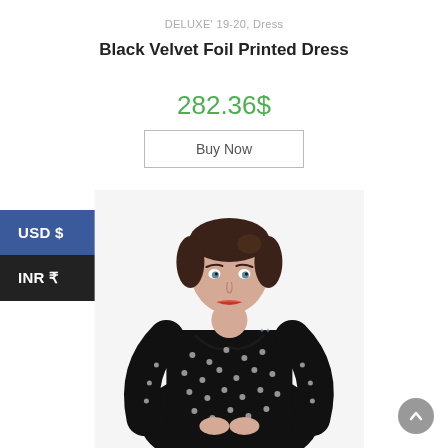DELUXE' 19-20, Dress
Black Velvet Foil Printed Dress
282.36$
Buy Now
USD $
INR ₹
[Figure (photo): Woman wearing a black velvet foil printed dress with long sleeves and a sweetheart neckline, standing against a white background.]